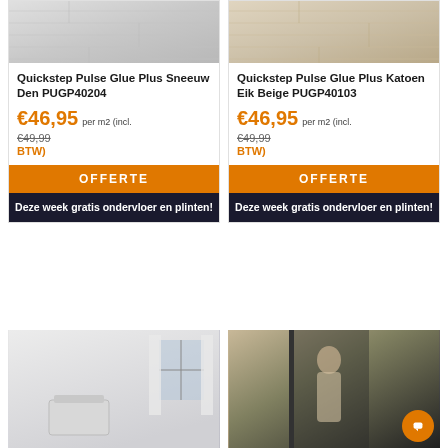[Figure (photo): Flooring texture - light grey/white wood plank pattern]
Quickstep Pulse Glue Plus Sneeuw Den PUGP40204
€46,95 per m2 (incl.
€49,99
BTW)
OFFERTE
Deze week gratis ondervloer en plinten!
[Figure (photo): Flooring texture - warm beige/cotton oak wood plank pattern]
Quickstep Pulse Glue Plus Katoen Eik Beige PUGP40103
€46,95 per m2 (incl.
€49,99
BTW)
OFFERTE
Deze week gratis ondervloer en plinten!
[Figure (photo): Interior room scene with white curtains and crib, light flooring]
[Figure (photo): Interior scene with woman in doorway/wardrobe area, dark tones]